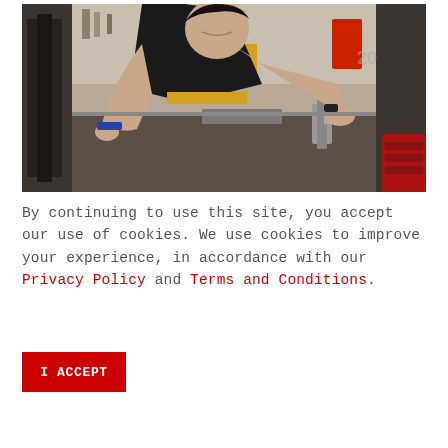[Figure (photo): A young man in a black t-shirt leaning over industrial machinery in a workshop, working with metal parts and equipment. The background shows a workshop with tools and equipment.]
By continuing to use this site, you accept our use of cookies. We use cookies to improve your experience, in accordance with our Privacy Policy and Terms and Conditions.
I ACCEPT